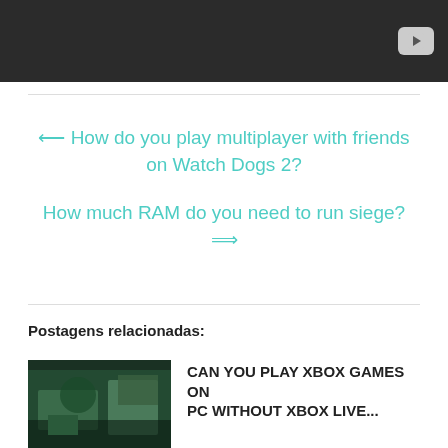[Figure (screenshot): Dark video embed bar with a YouTube-style play button in the top right corner]
← How do you play multiplayer with friends on Watch Dogs 2?
How much RAM do you need to run siege? ⇒
Postagens relacionadas:
[Figure (photo): Thumbnail image of a gaming scene with green/teal tones]
CAN YOU PLAY XBOX GAMES ON PC WITHOUT XBOX LIVE...